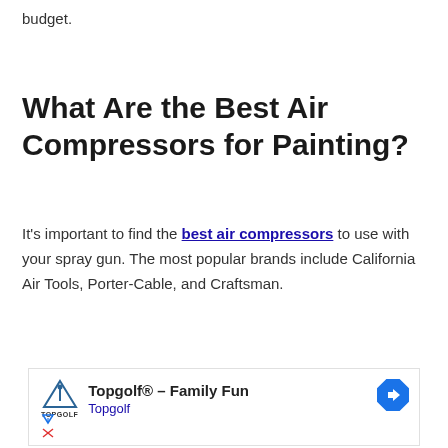budget.
What Are the Best Air Compressors for Painting?
It's important to find the best air compressors to use with your spray gun. The most popular brands include California Air Tools, Porter-Cable, and Craftsman.
[Figure (other): Advertisement for Topgolf - Family Fun, showing Topgolf logo and a blue navigation arrow icon.]